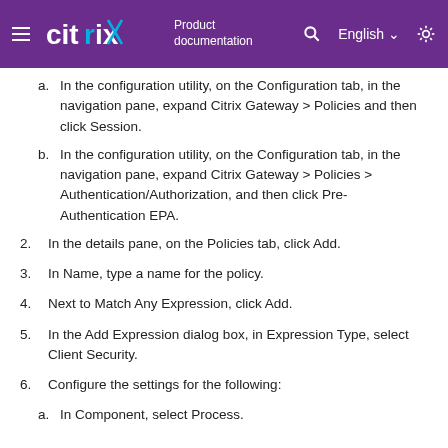citrix Product documentation
a. In the configuration utility, on the Configuration tab, in the navigation pane, expand Citrix Gateway > Policies and then click Session.
b. In the configuration utility, on the Configuration tab, in the navigation pane, expand Citrix Gateway > Policies > Authentication/Authorization, and then click Pre-Authentication EPA.
2. In the details pane, on the Policies tab, click Add.
3. In Name, type a name for the policy.
4. Next to Match Any Expression, click Add.
5. In the Add Expression dialog box, in Expression Type, select Client Security.
6. Configure the settings for the following:
a. In Component, select Process.